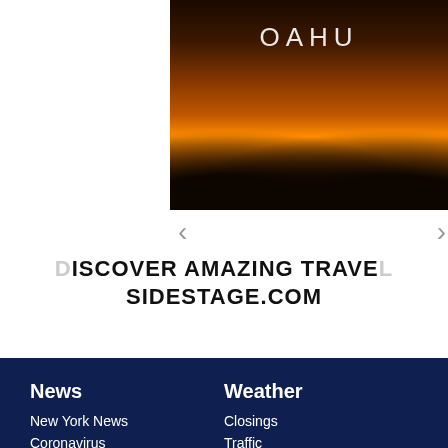[Figure (photo): Scenic sunset photo of Oahu with rocky silhouettes and ocean, text 'OAHU' overlaid]
DISCOVER AMAZING TRAVEL SIDESTAGE.COM
News
New York News
Coronavirus
National
World
Entertainment
Politics
Unusual
Weather
Closings
Traffic
Travel News
Science
FOX 5 NY Weather App